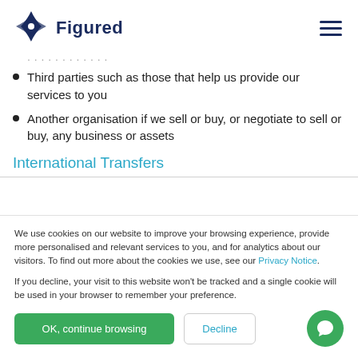Figured
Third parties such as those that help us provide our services to you
Another organisation if we sell or buy, or negotiate to sell or buy, any business or assets
International Transfers
We use cookies on our website to improve your browsing experience, provide more personalised and relevant services to you, and for analytics about our visitors. To find out more about the cookies we use, see our Privacy Notice.

If you decline, your visit to this website won't be tracked and a single cookie will be used in your browser to remember your preference.